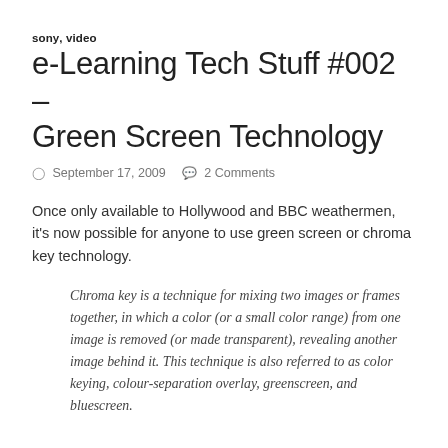sony, video
e-Learning Tech Stuff #002 – Green Screen Technology
September 17, 2009    2 Comments
Once only available to Hollywood and BBC weathermen, it's now possible for anyone to use green screen or chroma key technology.
Chroma key is a technique for mixing two images or frames together, in which a color (or a small color range) from one image is removed (or made transparent), revealing another image behind it. This technique is also referred to as color keying, colour-separation overlay, greenscreen, and bluescreen.